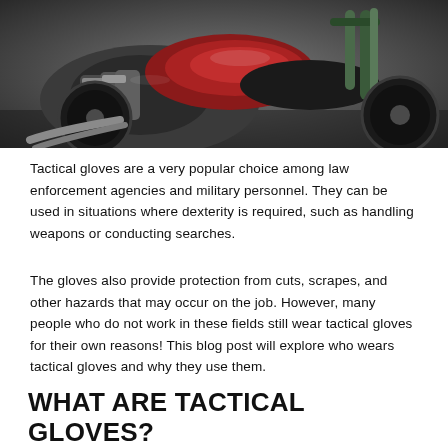[Figure (photo): Close-up photo of a motorcycle showing the engine, fuel tank, handlebars, and front wheel. The motorcycle appears to be a classic or custom style with red and dark gray coloring.]
Tactical gloves are a very popular choice among law enforcement agencies and military personnel. They can be used in situations where dexterity is required, such as handling weapons or conducting searches.
The gloves also provide protection from cuts, scrapes, and other hazards that may occur on the job. However, many people who do not work in these fields still wear tactical gloves for their own reasons! This blog post will explore who wears tactical gloves and why they use them.
WHAT ARE TACTICAL GLOVES?